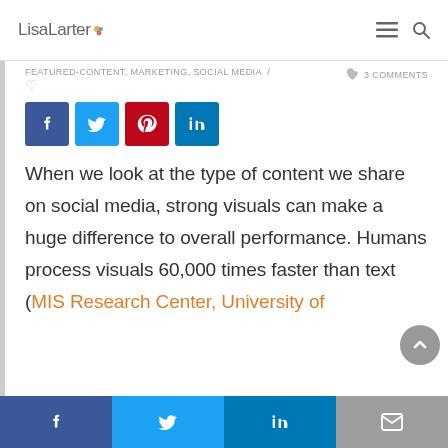LisaLarter
FEATURED-CONTENT, MARKETING, SOCIAL MEDIA / 3 COMMENTS
[Figure (other): Social share buttons: Facebook, Twitter, Pinterest, LinkedIn]
When we look at the type of content we share on social media, strong visuals can make a huge difference to overall performance. Humans process visuals 60,000 times faster than text (MIS Research Center, University of
f   Twitter   in   Email share bar